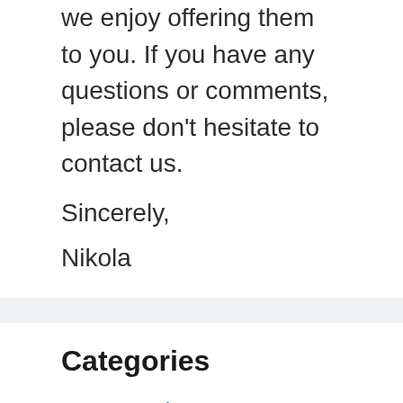we enjoy offering them to you. If you have any questions or comments, please don't hesitate to contact us.
Sincerely,
Nikola
Categories
Accessories
Beauty
Betting
Blog
Books